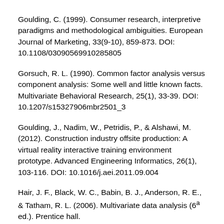Goulding, C. (1999). Consumer research, interpretive paradigms and methodological ambiguities. European Journal of Marketing, 33(9-10), 859-873. DOI: 10.1108/03090569910285805
Gorsuch, R. L. (1990). Common factor analysis versus component analysis: Some well and little known facts. Multivariate Behavioral Research, 25(1), 33-39. DOI: 10.1207/s15327906mbr2501_3
Goulding, J., Nadim, W., Petridis, P., & Alshawi, M. (2012). Construction industry offsite production: A virtual reality interactive training environment prototype. Advanced Engineering Informatics, 26(1), 103-116. DOI: 10.1016/j.aei.2011.09.004
Hair, J. F., Black, W. C., Babin, B. J., Anderson, R. E., & Tatham, R. L. (2006). Multivariate data analysis (6ª ed.). Prentice hall.
Hassan, S., Husić-Mehmedović, M., & Duverger, P. (2015).